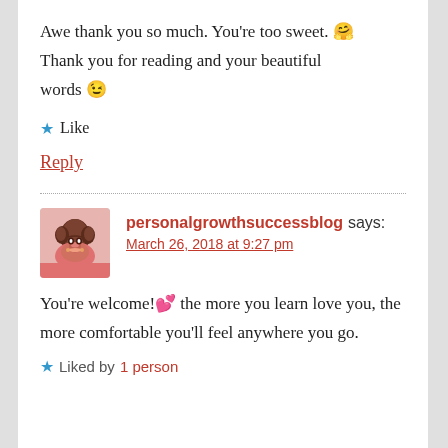Awe thank you so much. You're too sweet. 🤗 Thank you for reading and your beautiful words 😉
★ Like
Reply
personalgrowthsuccessblog says: March 26, 2018 at 9:27 pm
You're welcome!💕 the more you learn love you, the more comfortable you'll feel anywhere you go.
★ Liked by 1 person